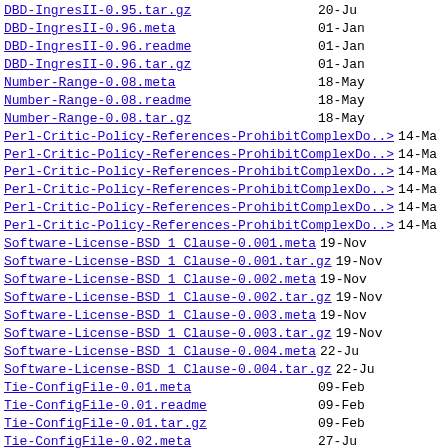DBD-IngresII-0.95.tar.gz   20-Ju
DBD-IngresII-0.96.meta   01-Jan
DBD-IngresII-0.96.readme   01-Jan
DBD-IngresII-0.96.tar.gz   01-Jan
Number-Range-0.08.meta   18-May
Number-Range-0.08.readme   18-May
Number-Range-0.08.tar.gz   18-May
Perl-Critic-Policy-References-ProhibitComplexDo..>   14-Ma
Perl-Critic-Policy-References-ProhibitComplexDo..>   14-Ma
Perl-Critic-Policy-References-ProhibitComplexDo..>   14-Ma
Perl-Critic-Policy-References-ProhibitComplexDo..>   14-Ma
Perl-Critic-Policy-References-ProhibitComplexDo..>   14-Ma
Perl-Critic-Policy-References-ProhibitComplexDo..>   14-Ma
Software-License-BSD 1 Clause-0.001.meta   19-Nov
Software-License-BSD 1 Clause-0.001.tar.gz   19-Nov
Software-License-BSD 1 Clause-0.002.meta   19-Nov
Software-License-BSD 1 Clause-0.002.tar.gz   19-Nov
Software-License-BSD 1 Clause-0.003.meta   19-Nov
Software-License-BSD 1 Clause-0.003.tar.gz   19-Nov
Software-License-BSD 1 Clause-0.004.meta   22-Ju
Software-License-BSD 1 Clause-0.004.tar.gz   22-Ju
Tie-ConfigFile-0.01.meta   09-Feb
Tie-ConfigFile-0.01.readme   09-Feb
Tie-ConfigFile-0.01.tar.gz   09-Feb
Tie-ConfigFile-0.02.meta   27-Ju
Tie-ConfigFile-0.02.readme   27-Ju
Tie-ConfigFile-0.02.tar.gz   27-Ju
Tie-ConfigFile-1.00.meta   03-Feb
Tie-ConfigFile-1.00.readme   03-Feb
Tie-ConfigFile-1.00.tar.gz   03-Feb
Tie-ConfigFile-1.01.meta   04-Feb